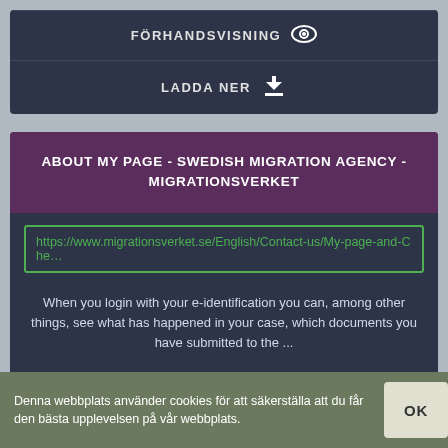FÖRHANDSVISNING
LADDA NER
ABOUT MY PAGE - SWEDISH MIGRATION AGENCY - MIGRATIONSVERKET
https://www.migrationsverket.se/English/Contact-us/My-page-and-Che…
When you login with your e-identification you can, among other things, see what has happened in your case, which documents you have submitted to the ...
STATUS: AKTIVA
FÖRHANDSVISNING
Denna webbplats använder cookies för att säkerställa att du får den bästa upplevelsen på vår webbplats.